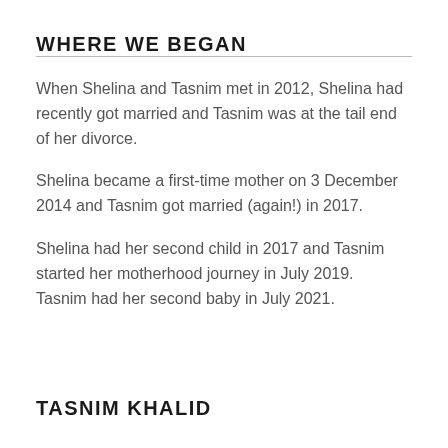WHERE WE BEGAN
When Shelina and Tasnim met in 2012, Shelina had recently got married and Tasnim was at the tail end of her divorce.
Shelina became a first-time mother on 3 December 2014 and Tasnim got married (again!) in 2017.
Shelina had her second child in 2017 and Tasnim started her motherhood journey in July 2019. Tasnim had her second baby in July 2021.
TASNIM KHALID